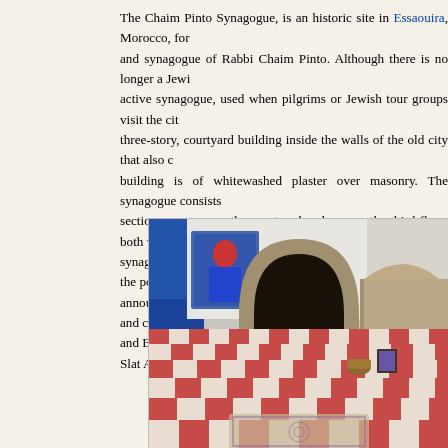The Chaim Pinto Synagogue, is an historic site in Essaouira, Morocco, for and synagogue of Rabbi Chaim Pinto. Although there is no longer a Jewi active synagogue, used when pilgrims or Jewish tour groups visit the cit three-story, courtyard building inside the walls of the old city that also c building is of whitewashed plaster over masonry. The synagogue consists sections, one across the courtyard and one on the third floor, both wit synagogue room underwent a modern renovation in line with the policy announced by King Mohammed VI, concealing the ceiling and column ca and Bimah light blue. The other synagogue being renovated is Slat Attias
[Figure (photo): Interior photograph of the Chaim Pinto Synagogue showing a checkered red and white tile floor, a stone archway, blue walls, a framed portrait on the wall, and a small rug in the foreground.]